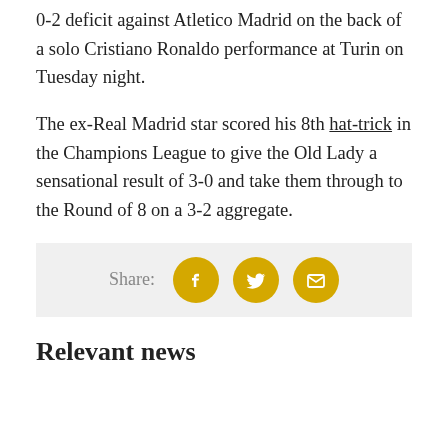0-2 deficit against Atletico Madrid on the back of a solo Cristiano Ronaldo performance at Turin on Tuesday night.
The ex-Real Madrid star scored his 8th hat-trick in the Champions League to give the Old Lady a sensational result of 3-0 and take them through to the Round of 8 on a 3-2 aggregate.
[Figure (infographic): Share bar with Facebook, Twitter, and email icons in gold circles]
Relevant news